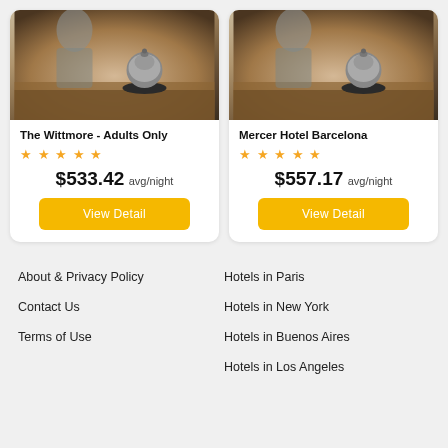[Figure (photo): Hotel reception desk with bell, blurred background]
The Wittmore - Adults Only
★★★★★
$533.42 avg/night
View Detail
[Figure (photo): Hotel reception desk with bell, blurred background]
Mercer Hotel Barcelona
★★★★★
$557.17 avg/night
View Detail
About & Privacy Policy
Contact Us
Terms of Use
Hotels in Paris
Hotels in New York
Hotels in Buenos Aires
Hotels in Los Angeles